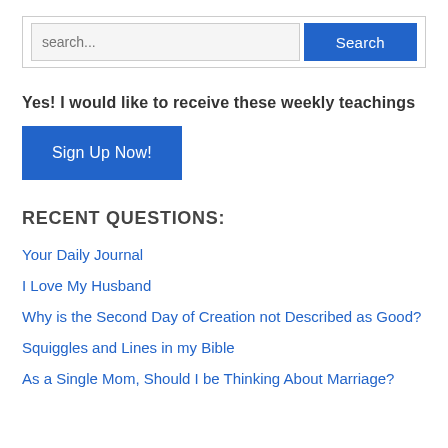[Figure (screenshot): Search bar with text input field showing 'search...' placeholder and a blue 'Search' button]
Yes! I would like to receive these weekly teachings
[Figure (screenshot): Blue 'Sign Up Now!' button]
RECENT QUESTIONS:
Your Daily Journal
I Love My Husband
Why is the Second Day of Creation not Described as Good?
Squiggles and Lines in my Bible
As a Single Mom, Should I be Thinking About Marriage?